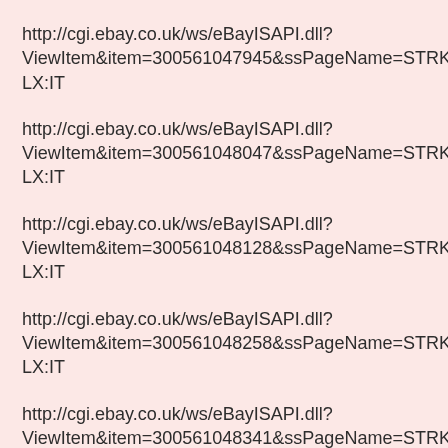http://cgi.ebay.co.uk/ws/eBayISAPI.dll?ViewItem&item=300561047945&ssPageName=STRK:MESELX:IT
http://cgi.ebay.co.uk/ws/eBayISAPI.dll?ViewItem&item=300561048047&ssPageName=STRK:MESELX:IT
http://cgi.ebay.co.uk/ws/eBayISAPI.dll?ViewItem&item=300561048128&ssPageName=STRK:MESELX:IT
http://cgi.ebay.co.uk/ws/eBayISAPI.dll?ViewItem&item=300561048258&ssPageName=STRK:MESELX:IT
http://cgi.ebay.co.uk/ws/eBayISAPI.dll?ViewItem&item=300561048341&ssPageName=STRK:MESELX:IT
http://cgi.ebay.co.uk/ws/eBayISAPI.dll?